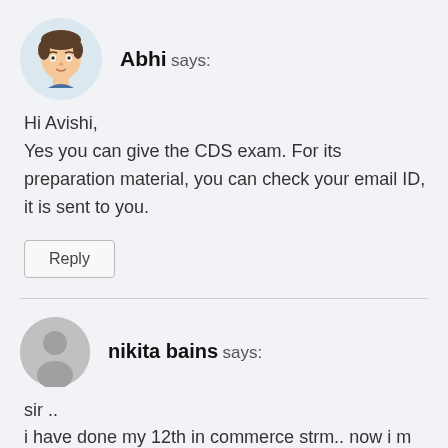[Figure (illustration): Cartoon avatar of a young man named Abhi, circular crop]
Abhi says:
Hi Avishi,
Yes you can give the CDS exam. For its preparation material, you can check your email ID, it is sent to you.
Reply
[Figure (illustration): Generic grey silhouette avatar for nikita bains, circular crop]
nikita bains says:
sir ..
i have done my 12th in commerce strm.. now i m pursuing BCA(last year).. what should i do now.. ..
sir if i apply for CTA is it fine for me or i..